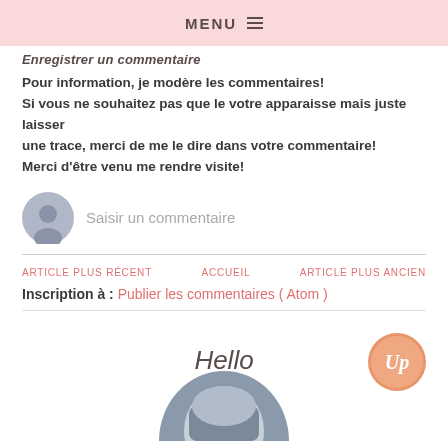MENU
Enregistrer un commentaire
Pour information, je modère les commentaires!
Si vous ne souhaitez pas que le votre apparaisse mais juste laisser une trace, merci de me le dire dans votre commentaire!
Merci d'être venu me rendre visite!
[Figure (illustration): Comment input area with avatar icon and placeholder text 'Saisir un commentaire']
ARTICLE PLUS RÉCENT    ACCUEIL    ARTICLE PLUS ANCIEN
Inscription à : Publier les commentaires ( Atom )
Hello
[Figure (logo): Circular logo with 'Up' in script lettering on pink/coral background]
[Figure (photo): Bottom portion of a circular profile photo, partially cropped]